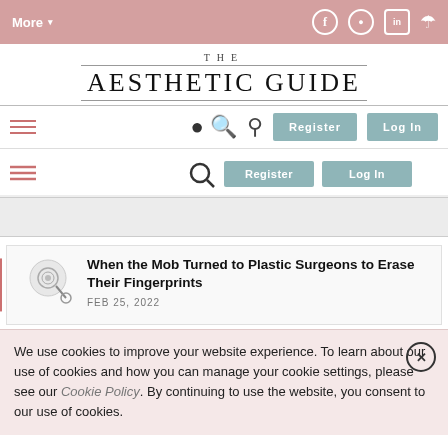More▾  [social icons: Facebook, Instagram, LinkedIn, SoundCloud]
THE AESTHETIC GUIDE
[Figure (screenshot): Navigation row with hamburger menu, search icon, Register and Log In buttons]
[Figure (screenshot): Advertisement placeholder banner]
[Figure (illustration): Small fingerprint/magnifying glass icon thumbnail for article]
When the Mob Turned to Plastic Surgeons to Erase Their Fingerprints
FEB 25, 2022
We use cookies to improve your website experience. To learn about our use of cookies and how you can manage your cookie settings, please see our Cookie Policy. By continuing to use the website, you consent to our use of cookies.